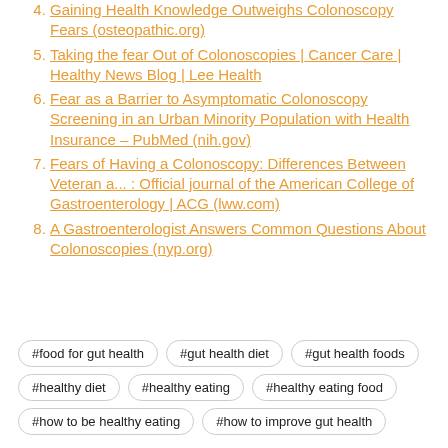4. Gaining Health Knowledge Outweighs Colonoscopy Fears (osteopathic.org)
5. Taking the fear Out of Colonoscopies | Cancer Care | Healthy News Blog | Lee Health
6. Fear as a Barrier to Asymptomatic Colonoscopy Screening in an Urban Minority Population with Health Insurance – PubMed (nih.gov)
7. Fears of Having a Colonoscopy: Differences Between Veteran a... : Official journal of the American College of Gastroenterology | ACG (lww.com)
8. A Gastroenterologist Answers Common Questions About Colonoscopies (nyp.org)
#food for gut health
#gut health diet
#gut health foods
#healthy diet
#healthy eating
#healthy eating food
#how to be healthy eating
#how to improve gut health